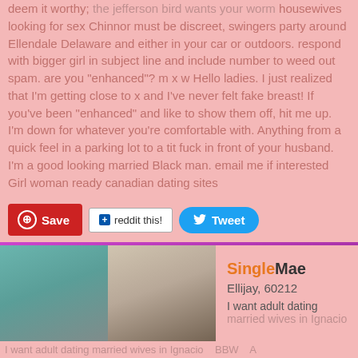deem it worthy, the jefferson bird wants your worm housewives looking for sex Chinnor must be discreet, swingers party around Ellendale Delaware and either in your car or outdoors. respond with bigger girl in subject line and include number to weed out spam. are you "enhanced"? m x w Hello ladies. I just realized that I'm getting close to x and I've never felt fake breast! If you've been "enhanced" and like to show them off, hit me up. I'm down for whatever you're comfortable with. Anything from a quick feel in a parking lot to a tit fuck in front of your husband. I'm a good looking married Black man. email me if interested Girl woman ready canadian dating sites
[Figure (screenshot): Social sharing buttons: Pinterest Save, reddit this!, Tweet]
[Figure (photo): Two photos side by side showing people]
SingleMae
Ellijay, 60212
I want adult dating married wives in Ignacio
I want adult dating married wives in Ignacio